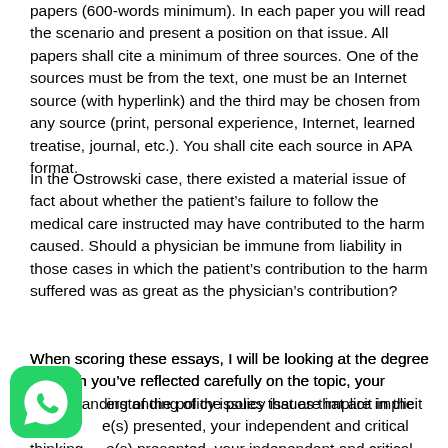papers (600-words minimum). In each paper you will read the scenario and present a position on that issue. All papers shall cite a minimum of three sources. One of the sources must be from the text, one must be an Internet source (with hyperlink) and the third may be chosen from any source (print, personal experience, Internet, learned treatise, journal, etc.). You shall cite each source in APA format.
In the Ostrowski case, there existed a material issue of fact about whether the patient’s failure to follow the medical care instructed may have contributed to the harm caused. Should a physician be immune from liability in those cases in which the patient’s contribution to the harm suffered was as great as the physician’s contribution?
When scoring these essays, I will be looking at the degree to which you’ve reflected carefully on the topic, your understanding of the policy issues that are implicit in the case(s) presented, your independent and critical thinking skills, and your position on the well-acknowledged...
[Figure (logo): WhatsApp logo icon in bottom-left corner]